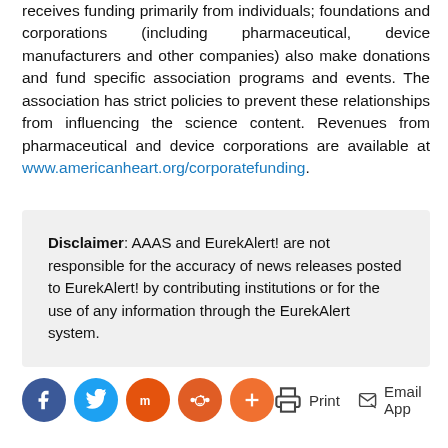receives funding primarily from individuals; foundations and corporations (including pharmaceutical, device manufacturers and other companies) also make donations and fund specific association programs and events. The association has strict policies to prevent these relationships from influencing the science content. Revenues from pharmaceutical and device corporations are available at www.americanheart.org/corporatefunding.
Disclaimer: AAAS and EurekAlert! are not responsible for the accuracy of news releases posted to EurekAlert! by contributing institutions or for the use of any information through the EurekAlert system.
[Figure (infographic): Social share buttons (Facebook, Twitter, Mix, Reddit, More) and action buttons (Print, Email App)]